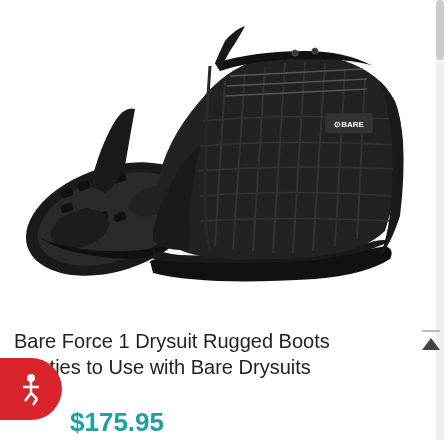[Figure (photo): A pair of black Bare Force 1 Drysuit Rugged Boots/booties shown from two angles: one showing the rubber sole and one showing the side profile with ribbed mesh upper, laces, and Bare brand logo on the side. Both shoes are black.]
Bare Force 1 Drysuit Rugged Boots Booties to Use with Bare Drysuits
$175.95